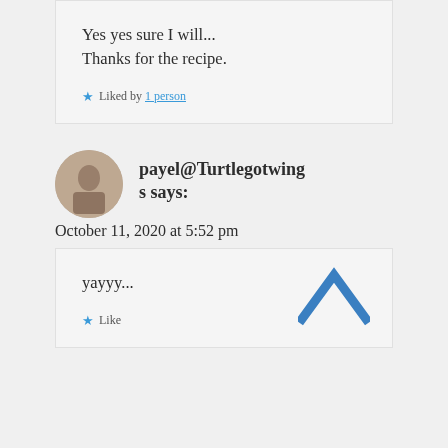Yes yes sure I will...
Thanks for the recipe.
Liked by 1 person
payel@Turtlegotwings says:
October 11, 2020 at 5:52 pm
yayyy...
Like